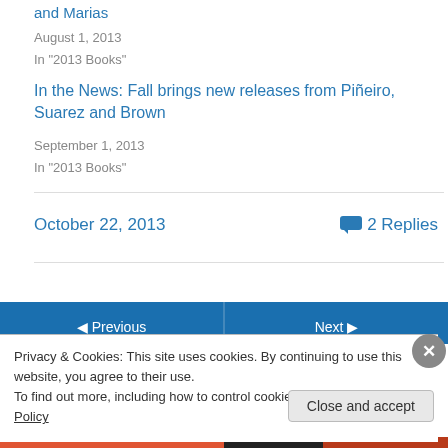and Marias
August 1, 2013
In "2013 Books"
In the News: Fall brings new releases from Piñeiro, Suarez and Brown
September 1, 2013
In "2013 Books"
October 22, 2013
2 Replies
Privacy & Cookies: This site uses cookies. By continuing to use this website, you agree to their use.
To find out more, including how to control cookies, see here: Cookie Policy
Close and accept